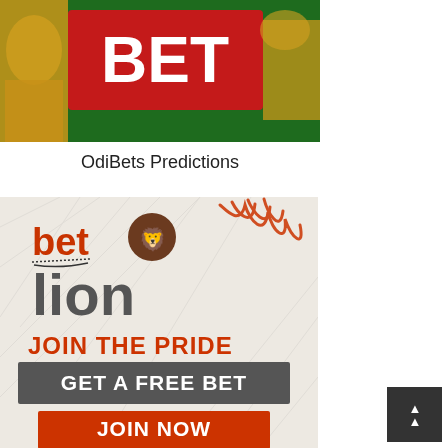[Figure (photo): A person in a yellow/gold outfit holding a red sign with white text 'BET' against a green background.]
OdiBets Predictions
[Figure (illustration): BetLion advertisement banner. Shows 'bet' in orange and 'lion' in gray with a lion icon, claw marks graphic, text 'JOIN THE PRIDE', a dark gray bar saying 'GET A FREE BET', and a red button saying 'JOIN NOW'.]